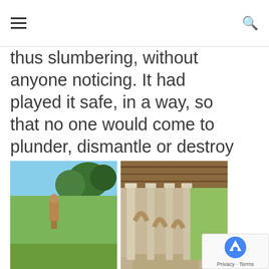navigation menu and search icon
thus slumbering, without anyone noticing. It had played it safe, in a way, so that no one would come to plunder, dismantle or destroy it.
[Figure (photo): Outdoor garden scene with a stone statue of a robed figure standing on a pedestal in a green lawn, with large trees in the background under a blue sky.]
[Figure (photo): Covered stone colonnade or arcade with Romanesque arches and columns, a walkway with a green garden visible outside on the right.]
It was a large bourgeois vacation home between Poitiers and Niort